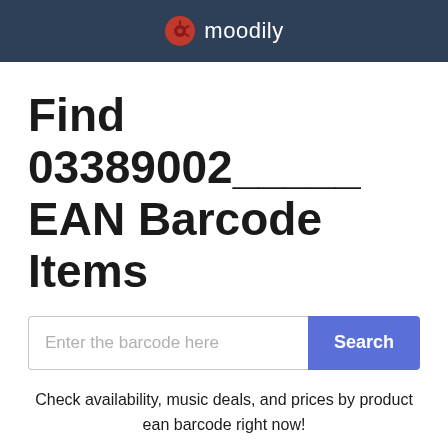moodily
Find 03389002_____ EAN Barcode Items
Enter the barcode here  Search
Check availability, music deals, and prices by product ean barcode right now!
Record Label: Instinctual Inside Grooves
Sample Artist: LTJ X-Perience